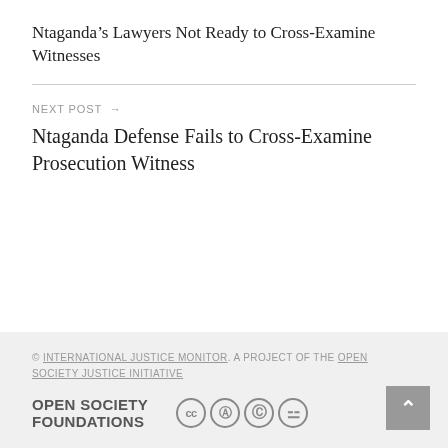Ntaganda’s Lawyers Not Ready to Cross-Examine Witnesses
NEXT POST →
Ntaganda Defense Fails to Cross-Examine Prosecution Witness
© INTERNATIONAL JUSTICE MONITOR. A PROJECT OF THE OPEN SOCIETY JUSTICE INITIATIVE
OPEN SOCIETY FOUNDATIONS